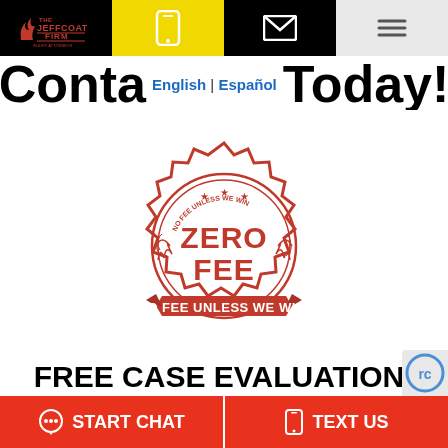The Jeffcoat Firm — phone | email | menu
Contact Us Today! English | Español
[Figure (logo): Zero Fee badge — red seal with text ZERO FEE and banner NO FEE UNLESS WE WIN!]
FREE CASE EVALUATION:
It's free to speak with us about your case, and if
START CHAT | TEXT US